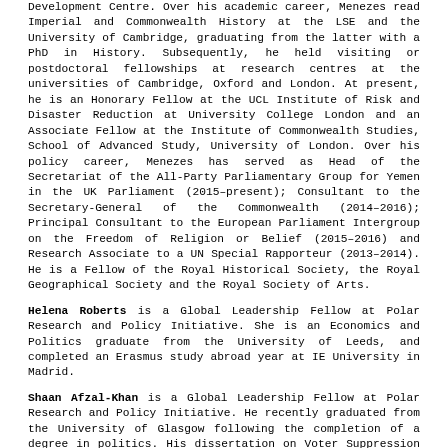Development Centre. Over his academic career, Menezes read Imperial and Commonwealth History at the LSE and the University of Cambridge, graduating from the latter with a PhD in History. Subsequently, he held visiting or postdoctoral fellowships at research centres at the universities of Cambridge, Oxford and London. At present, he is an Honorary Fellow at the UCL Institute of Risk and Disaster Reduction at University College London and an Associate Fellow at the Institute of Commonwealth Studies, School of Advanced Study, University of London. Over his policy career, Menezes has served as Head of the Secretariat of the All-Party Parliamentary Group for Yemen in the UK Parliament (2015-present); Consultant to the Secretary-General of the Commonwealth (2014-2016); Principal Consultant to the European Parliament Intergroup on the Freedom of Religion or Belief (2015-2016) and Research Associate to a UN Special Rapporteur (2013-2014). He is a Fellow of the Royal Historical Society, the Royal Geographical Society and the Royal Society of Arts.
Helena Roberts is a Global Leadership Fellow at Polar Research and Policy Initiative. She is an Economics and Politics graduate from the University of Leeds, and completed an Erasmus study abroad year at IE University in Madrid.
Shaan Afzal-Khan is a Global Leadership Fellow at Polar Research and Policy Initiative. He recently graduated from the University of Glasgow following the completion of a degree in politics. His dissertation on Voter Suppression in the United States demonstrates his deep interest in international affairs. He joins the Polar Research and Policy Initiative in the hope of gaining insight into how individuals and organisations can make the world a better place.
Joe Godhold is a Global Leadership Fellow at Polar Research and Policy